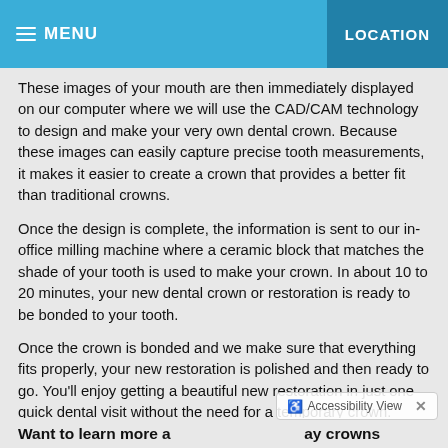MENU    LOCATION
These images of your mouth are then immediately displayed on our computer where we will use the CAD/CAM technology to design and make your very own dental crown. Because these images can easily capture precise tooth measurements, it makes it easier to create a crown that provides a better fit than traditional crowns.
Once the design is complete, the information is sent to our in-office milling machine where a ceramic block that matches the shade of your tooth is used to make your crown. In about 10 to 20 minutes, your new dental crown or restoration is ready to be bonded to your tooth.
Once the crown is bonded and we make sure that everything fits properly, your new restoration is polished and then ready to go. You'll enjoy getting a beautiful new restoration in just one quick dental visit without the need for a temporary crown.
Want to learn more a                          ay crowns